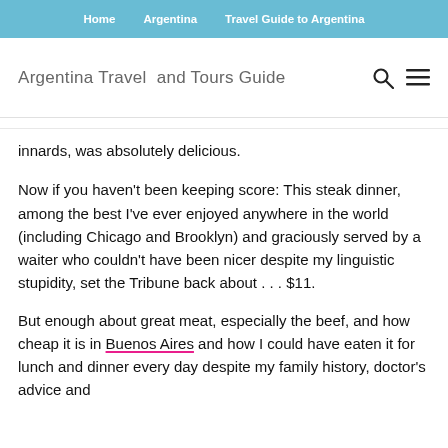Home | Argentina | Travel Guide to Argentina
Argentina Travel and Tours Guide
innards, was absolutely delicious.
Now if you haven't been keeping score: This steak dinner, among the best I've ever enjoyed anywhere in the world (including Chicago and Brooklyn) and graciously served by a waiter who couldn't have been nicer despite my linguistic stupidity, set the Tribune back about . . . $11.
But enough about great meat, especially the beef, and how cheap it is in Buenos Aires and how I could have eaten it for lunch and dinner every day despite my family history, doctor's advice and